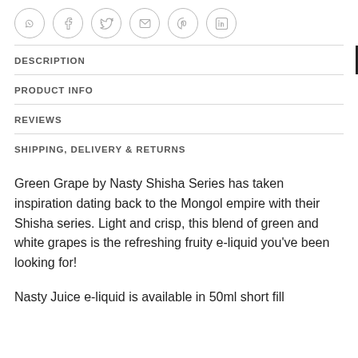[Figure (other): Row of social sharing icon circles: WhatsApp, Facebook, Twitter, Email, Pinterest, LinkedIn]
DESCRIPTION
PRODUCT INFO
REVIEWS
SHIPPING, DELIVERY & RETURNS
Green Grape by Nasty Shisha Series has taken inspiration dating back to the Mongol empire with their Shisha series. Light and crisp, this blend of green and white grapes is the refreshing fruity e-liquid you've been looking for!
Nasty Juice e-liquid is available in 50ml short fill